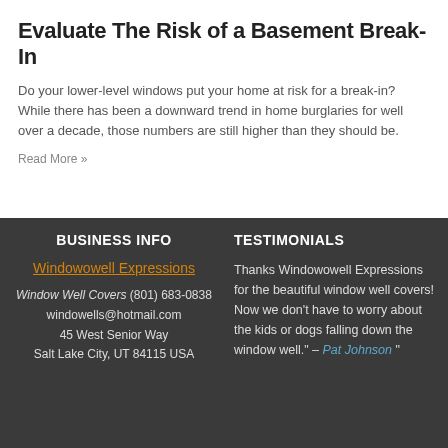Evaluate The Risk of a Basement Break-In
Do your lower-level windows put your home at risk for a break-in? While there has been a downward trend in home burglaries for well over a decade, those numbers are still higher than they should be.
Read More »
BUSINESS INFO
Windowowell Expressions
Window Well Covers (801) 683-0838 windowells@hotmail.com 45 West Senior Way Salt Lake City, UT 84115 USA
TESTIMONIALS
Thanks Windowowell Expressions for the beautiful window well covers! Now we don't have to worry about the kids or dogs falling down the window well." – Pat Johnson "